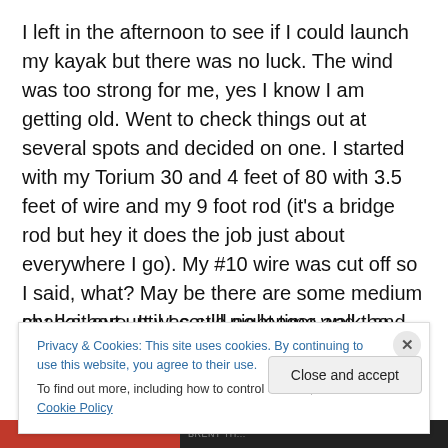I left in the afternoon to see if I could launch my kayak but there was no luck. The wind was too strong for me, yes I know I am getting old. Went to check things out at several spots and decided on one. I started with my Torium 30 and 4 feet of 80 with 3.5 feet of wire and my 9 foot rod (it's a bridge rod but hey it does the job just about everywhere I go). My #10 wire was cut off so I said, what? May be there are some medium sharks here. It was still night time and the waves were still too close to each other, so I decided to go stupid and do it old school. I got my 12/0, I walked my bait out until I could no longer walk, and tossed my bait
Privacy & Cookies: This site uses cookies. By continuing to use this website, you agree to their use.
To find out more, including how to control cookies, see here: Cookie Policy
Close and accept